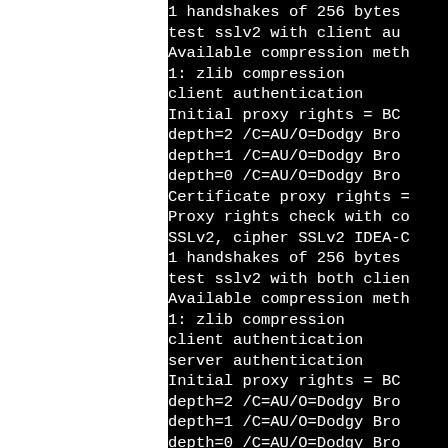1 handshakes of 256 bytes
test sslv2 with client au
Available compression meth
1: zlib compression
client authentication
Initial proxy rights = BC
depth=2 /C=AU/O=Dodgy Brot
depth=1 /C=AU/O=Dodgy Brot
depth=0 /C=AU/O=Dodgy Brot
Certificate proxy rights =
Proxy rights check with co
SSLv2, cipher SSLv2 IDEA-C
1 handshakes of 256 bytes
test sslv2 with both clien
Available compression meth
1: zlib compression
client authentication
server authentication
Initial proxy rights = BC
depth=2 /C=AU/O=Dodgy Brot
depth=1 /C=AU/O=Dodgy Brot
depth=0 /C=AU/O=Dodgy Brot
Certificate proxy rights =
Proxy rights check with co